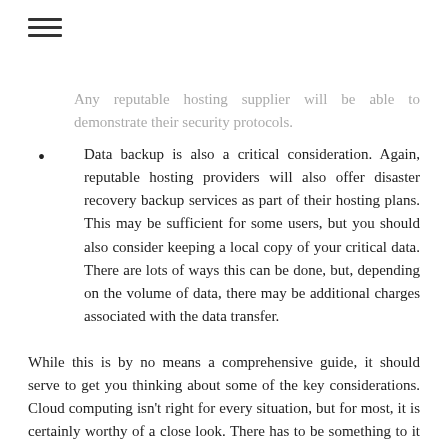≡
Any reputable hosting supplier will be able to demonstrate their security protocols.
Data backup is also a critical consideration. Again, reputable hosting providers will also offer disaster recovery backup services as part of their hosting plans. This may be sufficient for some users, but you should also consider keeping a local copy of your critical data. There are lots of ways this can be done, but, depending on the volume of data, there may be additional charges associated with the data transfer.
While this is by no means a comprehensive guide, it should serve to get you thinking about some of the key considerations. Cloud computing isn't right for every situation, but for most, it is certainly worthy of a close look. There has to be something to it when so many the